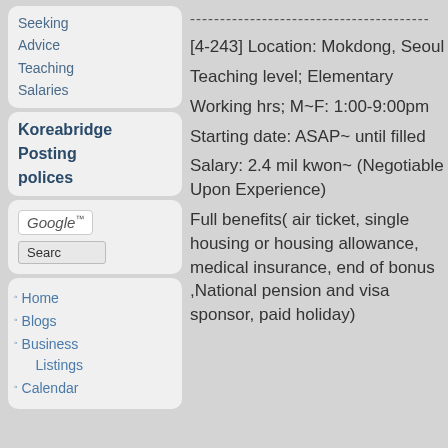Seeking Advice
Teaching Salaries
Koreabridge Posting polices
[Figure (screenshot): Google search box with Google logo and Search button]
Home
Blogs
Business Listings
Calendar
----------------------------------------
[4-243] Location: Mokdong, Seoul
Teaching level; Elementary
Working hrs; M~F: 1:00-9:00pm
Starting date: ASAP~ until filled
Salary: 2.4 mil kwon~ (Negotiable Upon Experience)
Full benefits( air ticket, single housing or housing allowance, medical insurance, end of bonus ,National pension and visa sponsor, paid holiday)